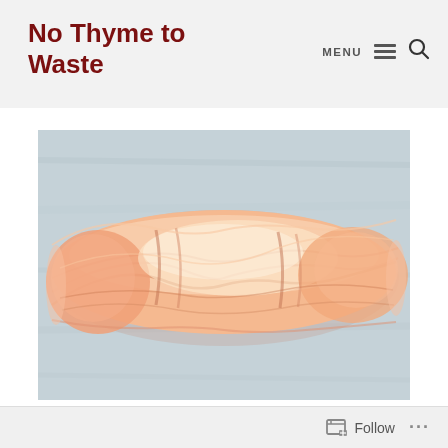No Thyme to Waste
[Figure (photo): A twisted skein of peach/salmon-colored yarn lying on a light grey wooden surface. The yarn is wound and twisted upon itself showing multiple strands in soft peachy tones ranging from pale cream to deeper salmon.]
Follow ...